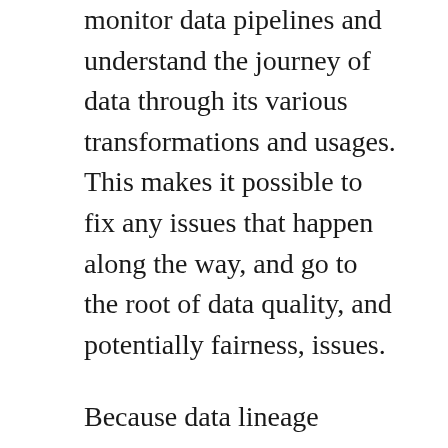monitor data pipelines and understand the journey of data through its various transformations and usages. This makes it possible to fix any issues that happen along the way, and go to the root of data quality, and potentially fairness, issues.
Because data lineage involves many different tools, platforms and companies, it makes sense for those different parts of the ecosystem to collaborate around standard definitions. This is the concept behind OpenLineage, a cross-industry effort involving creators and contributors from key data projects (DBT, Spark, Pandas, etc.), gathered together at the initiative of the founders of Datakin, an SF